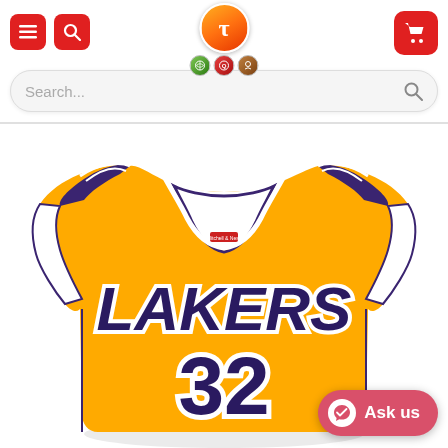[Figure (screenshot): E-commerce website header with hamburger menu icon, search icon (both red), centered orange logo with tezcommerce branding and three small badge icons below, and a red shopping cart icon on the right. Below header is a search bar with placeholder 'Search...' and a search icon. A horizontal divider separates the header from the product area. The main product image shows a yellow Los Angeles Lakers #32 basketball jersey (Magic Johnson) with purple lettering and white trim outline. In the bottom right corner is a pink/red 'Ask us' button with a white Messenger icon.]